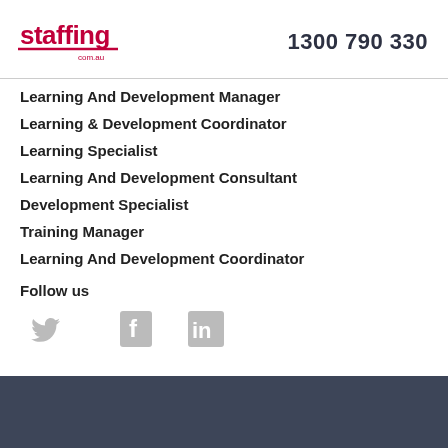[Figure (logo): staffing.com.au logo in red with underline]
1300 790 330
Learning And Development Manager
Learning & Development Coordinator
Learning Specialist
Learning And Development Consultant
Development Specialist
Training Manager
Learning And Development Coordinator
Follow us
[Figure (illustration): Social media icons: Twitter, Facebook, LinkedIn in light grey]